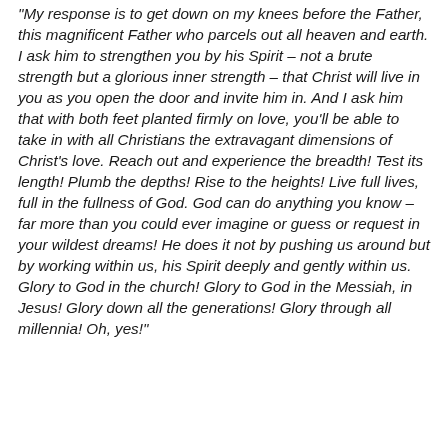“My response is to get down on my knees before the Father, this magnificent Father who parcels out all heaven and earth. I ask him to strengthen you by his Spirit – not a brute strength but a glorious inner strength – that Christ will live in you as you open the door and invite him in. And I ask him that with both feet planted firmly on love, you’ll be able to take in with all Christians the extravagant dimensions of Christ’s love. Reach out and experience the breadth! Test its length! Plumb the depths! Rise to the heights! Live full lives, full in the fullness of God. God can do anything you know – far more than you could ever imagine or guess or request in your wildest dreams! He does it not by pushing us around but by working within us, his Spirit deeply and gently within us. Glory to God in the church! Glory to God in the Messiah, in Jesus! Glory down all the generations! Glory through all millennia! Oh, yes!”